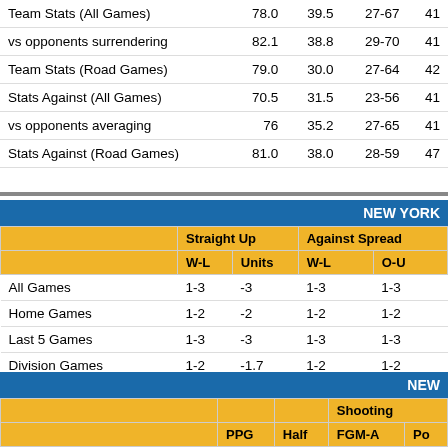|  | PPG | Half | W-L |  |
| --- | --- | --- | --- | --- |
| Team Stats (All Games) | 78.0 | 39.5 | 27-67 | 41 |
| vs opponents surrendering | 82.1 | 38.8 | 29-70 | 41 |
| Team Stats (Road Games) | 79.0 | 30.0 | 27-64 | 42 |
| Stats Against (All Games) | 70.5 | 31.5 | 23-56 | 41 |
| vs opponents averaging | 76 | 35.2 | 27-65 | 41 |
| Stats Against (Road Games) | 81.0 | 38.0 | 28-59 | 47 |
| NEW YORK |  | Straight Up |  | Against Spread |  |
| --- | --- | --- | --- | --- | --- |
|  | W-L | Units | W-L | O-U |
| All Games | 1-3 | -3 | 1-3 | 1-3 |
| Home Games | 1-2 | -2 | 1-2 | 1-2 |
| Last 5 Games | 1-3 | -3 | 1-3 | 1-3 |
| Division Games | 1-2 | -1.7 | 1-2 | 1-2 |
| NEW |  | Shooting |  |
| --- | --- | --- | --- |
|  | PPG | Half | FGM-A | Po |
| Team Stats (All Games) | 72.0 | 33.2 | 26-65 | 40 |
| vs opponents surrendering | 75.9 | 36.4 | 27-62 | 43 |
| Team Stats (Home Games) | 79.3 | 38.7 | 29-66 | 43 |